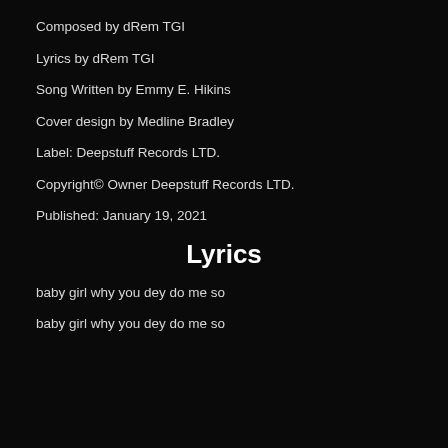Composed by dRem TGI
Lyrics by dRem TGI
Song Written by Emmy E. Hikins
Cover design by Medline Bradley
Label: Deepstuff Records LTD.
Copyright© Owner Deepstuff Records LTD.
Published: January 19, 2021
Lyrics
baby girl why you dey do me so
baby girl why you dey do me so